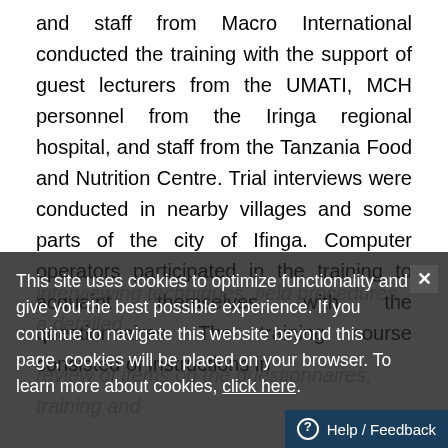and staff from Macro International conducted the training with the support of guest lecturers from the UMATI, MCH personnel from the Iringa regional hospital, and staff from the Tanzania Food and Nutrition Centre. Trial interviews were conducted in nearby villages and some parts of the city of Ifinga. Computer operators participated in the training to acquaint themselves with the questionnaires. The training course consisted of instructions in interviewing techniques, field procedures, a detailed review of items on the questionnaires, training and practice in weighing and measuring children, mock interviews between participants in the classroom, and practice interviews with real respondents in areas in and around Iringa.
[Figure (screenshot): Cookie consent banner overlay with dark semi-transparent background and white text reading: 'This site uses cookies to optimize functionality and give you the best possible experience. If you continue to navigate this website beyond this page, cookies will be placed on your browser. To learn more about cookies, click here.' with a close (X) button in the top right and a Help / Feedback button in the bottom right corner.]